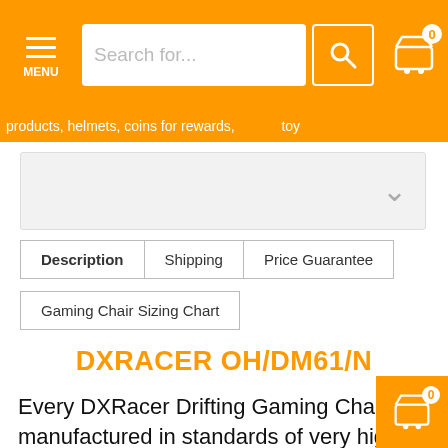MENU | Search for... | Cart 0
products, helmets, coins for rewards, toy...
[Figure (screenshot): Dropdown selector box with chevron]
Description | Shipping | Price Guarantee
Gaming Chair Sizing Chart
DXRACER OH/DM61/N
Every DXRacer Drifting Gaming Chair is manufactured in standards of very high quality and the OH/DM61/NW is no exception to this.The product provides a great level of luxury and comfort for you as well as a stylish look. Each chair is designed to take your gaming experience to an entire new level, the drifting series helps any long duration because it is made with extra